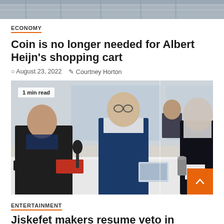[Figure (photo): Partial top image of a structure, cropped at top of page]
ECONOMY
Coin is no longer needed for Albert Heijn's shopping cart
August 23, 2022  Courtney Horton
[Figure (photo): Three men seated at a white table in what appears to be a courtroom. A '1 min read' badge is overlaid on the top-left of the image. An orange scroll-to-top button is visible at the bottom-right corner.]
ENTERTAINMENT
Jiskefet makers resume veto in